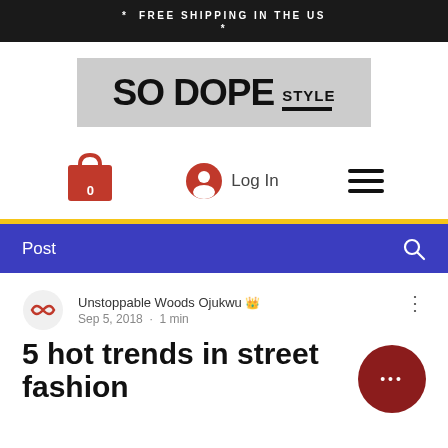* FREE SHIPPING IN THE US
*
[Figure (logo): So Dope Style logo on grey background]
[Figure (infographic): Navigation row with red shopping cart (badge 0), Log In button with user icon, hamburger menu icon]
Post
Unstoppable Woods Ojukwu 👑
Sep 5, 2018 · 1 min
5 hot trends in street fashion